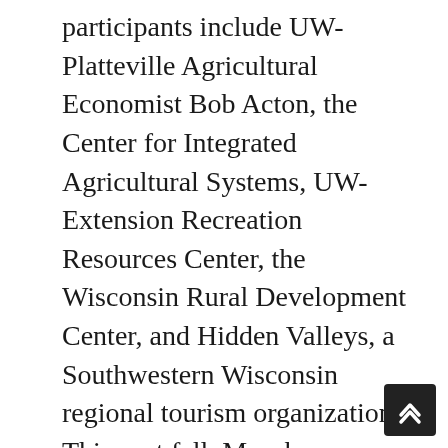participants include UW-Platteville Agricultural Economist Bob Acton, the Center for Integrated Agricultural Systems, UW-Extension Recreation Resources Center, the Wisconsin Rural Development Center, and Hidden Valleys, a Southwestern Wisconsin regional tourism organization. This past fall, Murphy organized several workshops with some Green and Grant County farmers, local business leaders, and motor coach tour operators to discuss how best to organize and put on farm tours. Committees were formed to look at the following: tour site evaluations, inventory of the area's resources, tour marketing, and familiarization of tours. The fourth committee is organizing tours for people such as tour bus guides and local reporters to help better educate them about agricultural tourism. Green County farmers already have experience hosting visitors during the annual Monroe Cheese Days. Green county Tourism Director Larry